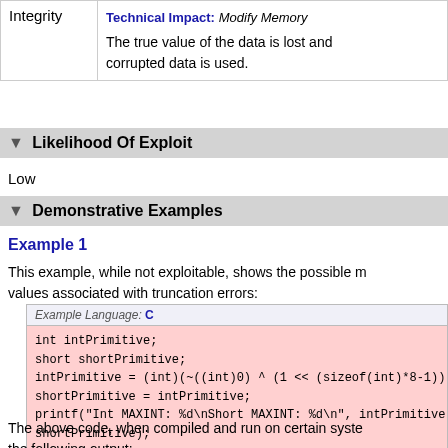|  |  |
| --- | --- |
| Integrity | Technical Impact: Modify Memory
The true value of the data is lost and corrupted data is used. |
▼ Likelihood Of Exploit
Low
▼ Demonstrative Examples
Example 1
This example, while not exploitable, shows the possible m... values associated with truncation errors:
[Figure (screenshot): Code box labeled 'Example Language: C' with pink background showing C code snippet: int intPrimitive; short shortPrimitive; intPrimitive = (int)(~((int)0) ^ (1 << (sizeof(int)*8-1))); shortPrimitive = intPrimitive; printf("Int MAXINT: %d\nShort MAXINT: %d\n", intPrimitive, shortPrimitive);]
The above code, when compiled and run on certain syste... the following output: